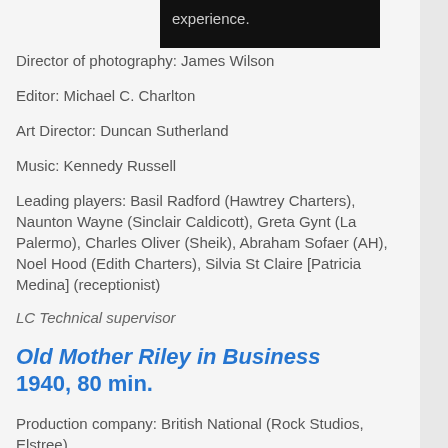Director of photography: James Wilson
Editor: Michael C. Charlton
Art Director: Duncan Sutherland
Music: Kennedy Russell
Leading players: Basil Radford (Hawtrey Charters), Naunton Wayne (Sinclair Caldicott), Greta Gynt (La Palermo), Charles Oliver (Sheik), Abraham Sofaer (AH), Noel Hood (Edith Charters), Silvia St Claire [Patricia Medina] (receptionist)
LC Technical supervisor
Old Mother Riley in Business
1940, 80 min.
Production company: British National (Rock Studios, Elstree)